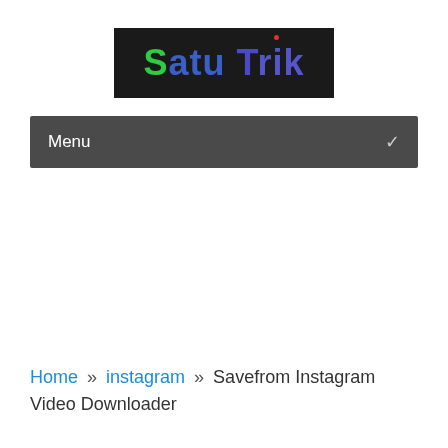[Figure (logo): Satu Trik website logo — black background with colorful text 'Satu Trik']
Menu
Home » instagram » Savefrom Instagram Video Downloader